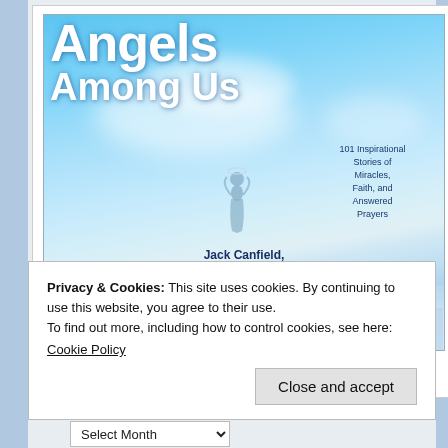[Figure (photo): Book cover of 'Angels Among Us: 101 Inspirational Stories of Miracles, Faith, and Answered Prayers' by Jack Canfield, Mark Victor Hansen & Amy Newmark. Blue sky with clouds background, stylized title text, angel figure silhouette.]
Simon & Schuster 2013
Privacy & Cookies: This site uses cookies. By continuing to use this website, you agree to their use.
To find out more, including how to control cookies, see here:
Cookie Policy